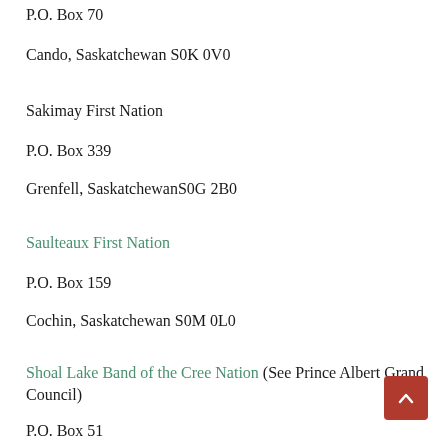P.O. Box 70
Cando, Saskatchewan S0K 0V0
Sakimay First Nation
P.O. Box 339
Grenfell, Saskatchewan S0G 2B0
Saulteaux First Nation
P.O. Box 159
Cochin, Saskatchewan S0M 0L0
Shoal Lake Band of the Cree Nation  (See Prince Albert Grand Council)
P.O. Box 51
Pelican Lake, Saskatchewan S0E 1C0